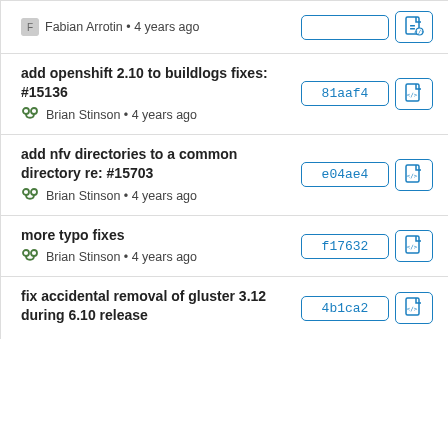Fabian Arrotin • 4 years ago | [hash button] [file icon]
add openshift 2.10 to buildlogs fixes: #15136 | Brian Stinson • 4 years ago | 81aaf4 [file icon]
add nfv directories to a common directory re: #15703 | Brian Stinson • 4 years ago | e04ae4 [file icon]
more typo fixes | Brian Stinson • 4 years ago | f17632 [file icon]
fix accidental removal of gluster 3.12 during 6.10 release | 4b1ca2 [file icon]